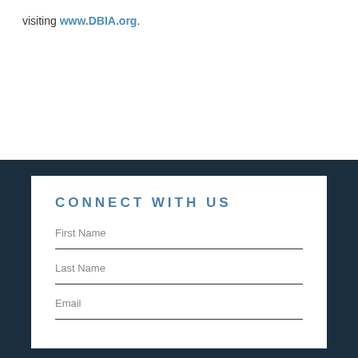visiting www.DBIA.org.
CONNECT WITH US
First Name
Last Name
Email